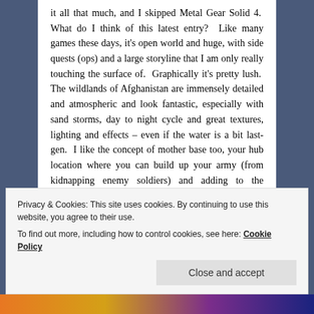it all that much, and I skipped Metal Gear Solid 4. What do I think of this latest entry? Like many games these days, it's open world and huge, with side quests (ops) and a large storyline that I am only really touching the surface of. Graphically it's pretty lush. The wildlands of Afghanistan are immensely detailed and atmospheric and look fantastic, especially with sand storms, day to night cycle and great textures, lighting and effects – even if the water is a bit last-gen. I like the concept of mother base too, your hub location where you can build up your army (from kidnapping enemy soldiers) and adding to the facilities for developing better equipment for use in the field. It's very absorbing stuff. It also plays really well. Metal Gear pretty much invented the stealth genre and
Privacy & Cookies: This site uses cookies. By continuing to use this website, you agree to their use.
To find out more, including how to control cookies, see here: Cookie Policy
Close and accept